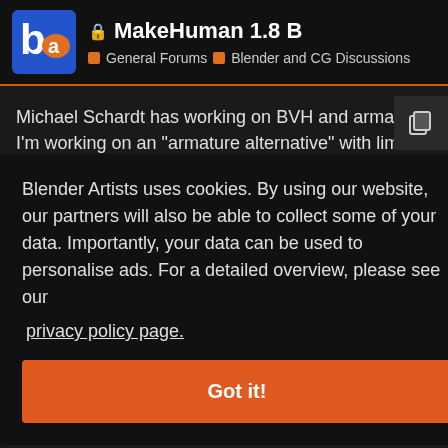MakeHuman 1.8 B — General Forums > Blender and CG Discussions
Michael Schardt has working on BVH and armature. I'm working on an “armature alternative” with limbs collision. Stay tuned, I should put online a brief article in 3-4 hours…
Ciao.
Blender Artists uses cookies. By using our website, our partners will also be able to collect some of your data. Importantly, your data can be used to personalise ads. For a detailed overview, please see our privacy policy page.
Got it!
Apr 2004
oups
to
default to MH 1.8b, and sometimes when I clear it to restart on a